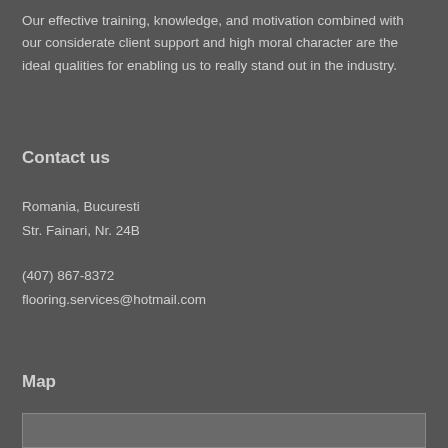Our effective training, knowledge, and motivation combined with our considerate client support and high moral character are the ideal qualities for enabling us to really stand out in the industry.
Contact us
Romania, Bucuresti
Str. Fainari, Nr. 24B
(407) 867-8372
flooring.services@hotmail.com
Map
[Figure (other): Map placeholder box]